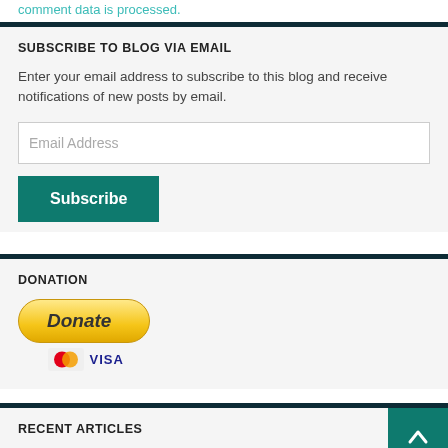comment data is processed.
SUBSCRIBE TO BLOG VIA EMAIL
Enter your email address to subscribe to this blog and receive notifications of new posts by email.
DONATION
[Figure (other): PayPal Donate button with MasterCard and Visa card icons below]
RECENT ARTICLES
Somethi… CliUnit CR21 & CTX News Backed By A…